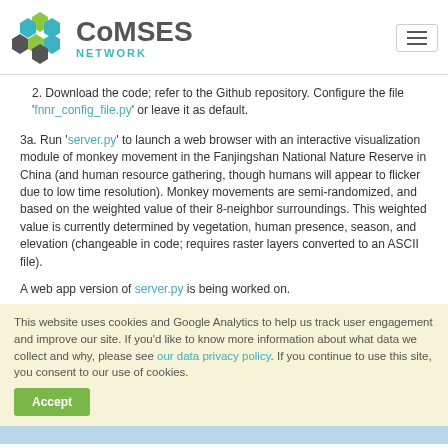CoMSES NETWORK
2. Download the code; refer to the Github repository. Configure the file 'fnnr_config_file.py' or leave it as default.
3a. Run 'server.py' to launch a web browser with an interactive visualization module of monkey movement in the Fanjingshan National Nature Reserve in China (and human resource gathering, though humans will appear to flicker due to low time resolution). Monkey movements are semi-randomized, and based on the weighted value of their 8-neighbor surroundings. This weighted value is currently determined by vegetation, human presence, season, and elevation (changeable in code; requires raster layers converted to an ASCII file).
A web app version of server.py is being worked on.
This website uses cookies and Google Analytics to help us track user engagement and improve our site. If you'd like to know more information about what data we collect and why, please see our data privacy policy. If you continue to use this site, you consent to our use of cookies.